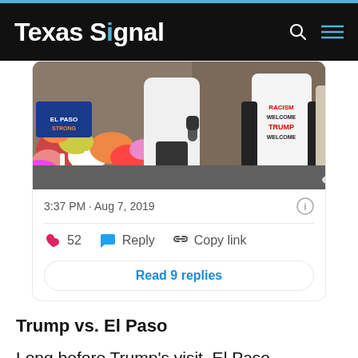Texas Signal
[Figure (screenshot): Embedded tweet screenshot showing people at a memorial with a protest shirt reading 'RACISM WELCOME TRUMP WELCOME', timestamped 3:37 PM · Aug 7, 2019, with 52 likes, Reply, Copy link actions, and Read 9 replies button]
Trump vs. El Paso
Long before Trump's visit, El Paso maintained an uneasy relationship with the president.